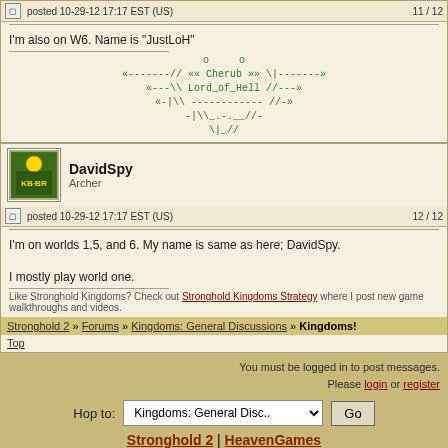posted 10-29-12 17:17 EST (US)   11 / 12
I'm also on W6. Name is "JustLoH"
[Figure (other): ASCII art signature showing a cherub/angel figure in green text: «-------// «« Cherub »» \|-------» «---\ Lord_of_Hell //---» «-|\ ------------ //-» -|\ __-.__//- -\ //-  \|_//]
DavidSpy
Archer
posted 10-29-12 17:17 EST (US)   12 / 12
I'm on worlds 1,5, and 6. My name is same as here; DavidSpy.

I mostly play world one.
Like Stronghold Kingdoms? Check out Stronghold Kingdoms Strategy where I post new game walkthroughs and videos.
Stronghold 2 » Forums » Kingdoms: General Discussions » Kingdoms!
Top
You must be logged in to post messages. Please login or register
Hop to: Kingdoms: General Disc..  Go
Stronghold 2 | HeavenGames
Copyright © 1997–2022 HeavenGames LLC. All rights reserved. v2.5.0